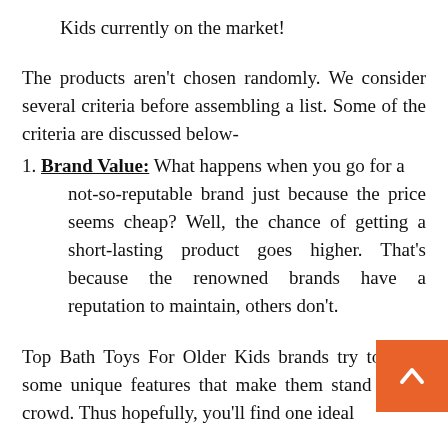Kids currently on the market!
The products aren't chosen randomly. We consider several criteria before assembling a list. Some of the criteria are discussed below-
Brand Value: What happens when you go for a not-so-reputable brand just because the price seems cheap? Well, the chance of getting a short-lasting product goes higher. That's because the renowned brands have a reputation to maintain, others don't.
Top Bath Toys For Older Kids brands try to offer some unique features that make them stand in the crowd. Thus hopefully, you'll find one ideal